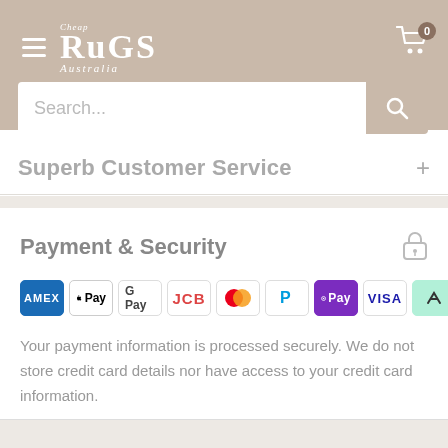Cheap Rugs Australia — Navigation header with search bar
Superb Customer Service
Payment & Security
[Figure (infographic): Payment method logos row: American Express, Apple Pay, Google Pay, JCB, Mastercard, PayPal, OPay, Visa, Afterpay]
Your payment information is processed securely. We do not store credit card details nor have access to your credit card information.